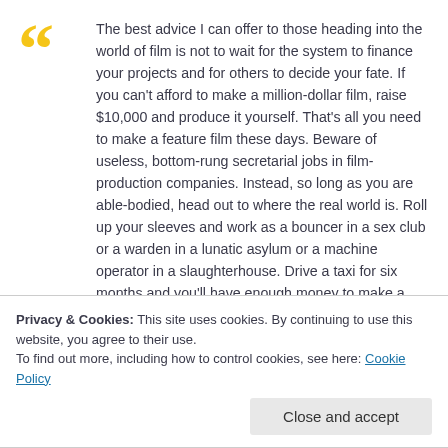The best advice I can offer to those heading into the world of film is not to wait for the system to finance your projects and for others to decide your fate. If you can't afford to make a million-dollar film, raise $10,000 and produce it yourself. That's all you need to make a feature film these days. Beware of useless, bottom-rung secretarial jobs in film-production companies. Instead, so long as you are able-bodied, head out to where the real world is. Roll up your sleeves and work as a bouncer in a sex club or a warden in a lunatic asylum or a machine operator in a slaughterhouse. Drive a taxi for six months and you'll have enough money to make a film. Walk on foot, learn languages and a craft or trade that has nothing to do with cinema. Filmmaking — like great literature — must have experience of life at its foundation. Read
Privacy & Cookies: This site uses cookies. By continuing to use this website, you agree to their use.
To find out more, including how to control cookies, see here: Cookie Policy